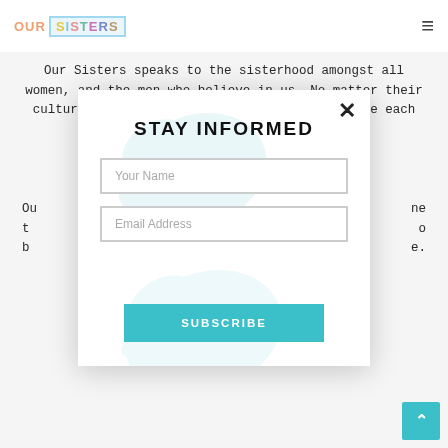OUR SISTERS
Our Sisters speaks to the sisterhood amongst all women, and the men who believe in us. No matter their culture, class, race or beliefs – we celebrate each other without judgement.
Our Sisters ... the ... e to ... o b... .e.
[Figure (screenshot): Modal popup with 'STAY INFORMED' title, close X button, Your Name input, Email Address input, and SUBSCRIBE button on teal background. Has decorative bird watermark.]
STAY INFORMED